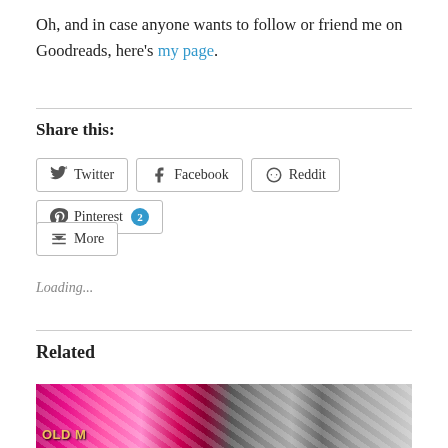Oh, and in case anyone wants to follow or friend me on Goodreads, here's my page.
Share this:
Loading...
Related
[Figure (photo): Photo showing colorful book spines or product packaging including pink/magenta covers and a product labeled OLD M]